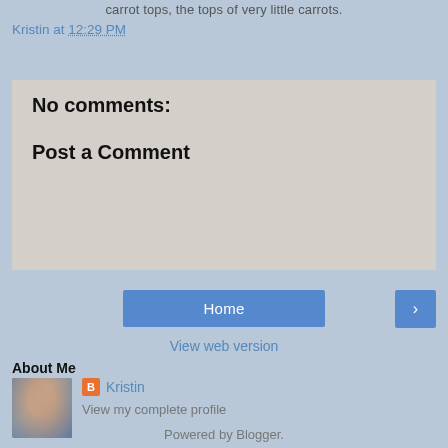carrot tops, the tops of very little carrots.
Kristin at 12:29 PM
Share
No comments:
Post a Comment
Home
>
View web version
About Me
[Figure (photo): Profile photo of Kristin, a woman with dark hair smiling, wearing a teal jacket]
Kristin
View my complete profile
Powered by Blogger.